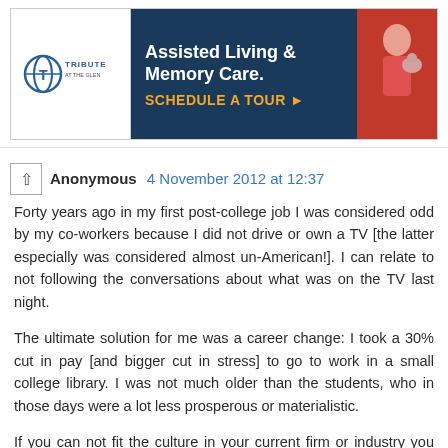[Figure (other): Advertisement banner for Tribute at the Glen assisted living and memory care. Shows logo on left, dark blue background with text 'Assisted Living & Memory Care. SCHEDULE A TOUR ▶' in center, and photo of elderly person with pet on right.]
Anonymous  4 November 2012 at 12:37
Forty years ago in my first post-college job I was considered odd by my co-workers because I did not drive or own a TV [the latter especially was considered almost un-American!]. I can relate to not following the conversations about what was on the TV last night.
The ultimate solution for me was a career change: I took a 30% cut in pay [and bigger cut in stress] to go to work in a small college library. I was not much older than the students, who in those days were a lot less prosperous or materialistic.
If you can not fit the culture in your current firm or industry you could search for a better match. Alternatively, you could plan on working a little longer, even if only part time.
You are a very smart guy, which will also make you